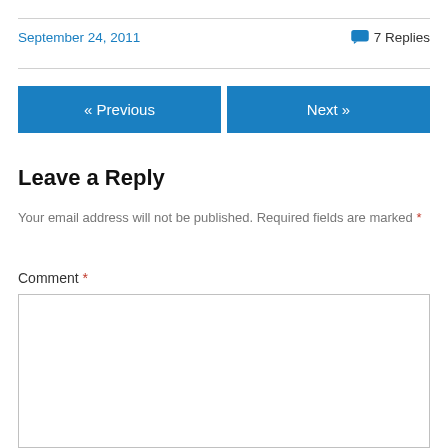September 24, 2011
💬 7 Replies
« Previous
Next »
Leave a Reply
Your email address will not be published. Required fields are marked *
Comment *